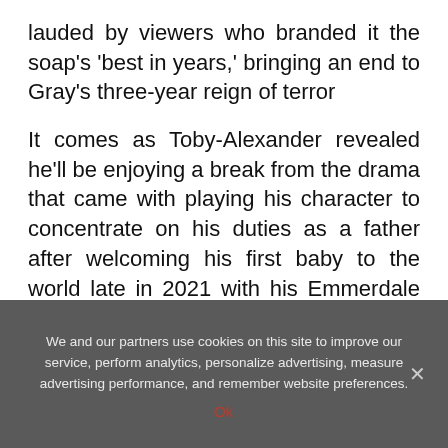lauded by viewers who branded it the soap's 'best in years,' bringing an end to Gray's three-year reign of terror
It comes as Toby-Alexander revealed he'll be enjoying a break from the drama that came with playing his character to concentrate on his duties as a father after welcoming his first baby to the world late in 2021 with his Emmerdale actress partner Amy Walsh, 34.
We and our partners use cookies on this site to improve our service, perform analytics, personalize advertising, measure advertising performance, and remember website preferences.
Ok